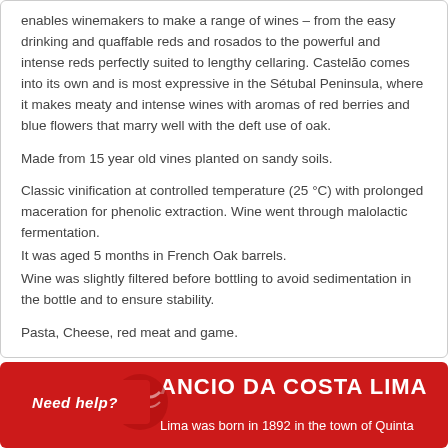enables winemakers to make a range of wines – from the easy drinking and quaffable reds and rosados to the powerful and intense reds perfectly suited to lengthy cellaring. Castelão comes into its own and is most expressive in the Sétubal Peninsula, where it makes meaty and intense wines with aromas of red berries and blue flowers that marry well with the deft use of oak.
Made from 15 year old vines planted on sandy soils.
Classic vinification at controlled temperature (25 °C) with prolonged maceration for phenolic extraction. Wine went through malolactic fermentation.
It was aged 5 months in French Oak barrels.
Wine was slightly filtered before bottling to avoid sedimentation in the bottle and to ensure stability.
Pasta, Cheese, red meat and game.
ANCIO DA COSTA LIMA
Lima was born in 1892 in the town of Quinta